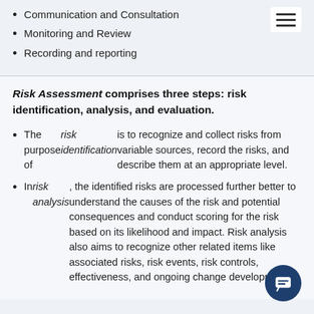Communication and Consultation
Monitoring and Review
Recording and reporting
Risk Assessment comprises three steps: risk identification, analysis, and evaluation.
The purpose of risk identification is to recognize and collect risks from variable sources, record the risks, and describe them at an appropriate level.
In risk analysis, the identified risks are processed further better to understand the causes of the risk and potential consequences and conduct scoring for the risk based on its likelihood and impact. Risk analysis also aims to recognize other related items like associated risks, risk events, risk controls, effectiveness, and ongoing change development.